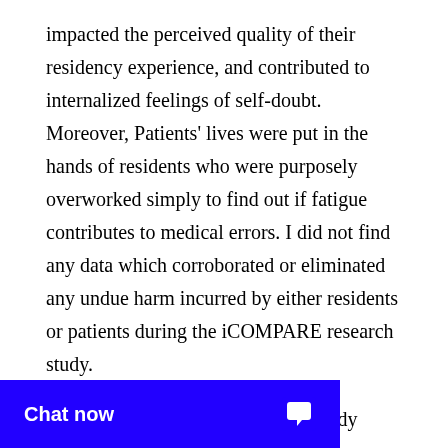impacted the perceived quality of their residency experience, and contributed to internalized feelings of self-doubt. Moreover, Patients' lives were put in the hands of residents who were purposely overworked simply to find out if fatigue contributes to medical errors. I did not find any data which corroborated or eliminated any undue harm incurred by either residents or patients during the iCOMPARE research study.
Suggestions for the iCOMPARE Study
Because ethical standards were not upheld during this research, the validity of the study is questionable. The designers of this research should have facilitated participants, since